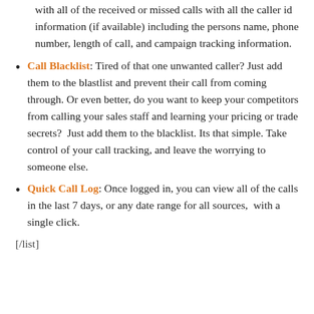with all of the received or missed calls with all the caller id information (if available) including the persons name, phone number, length of call, and campaign tracking information.
Call Blacklist: Tired of that one unwanted caller? Just add them to the blastlist and prevent their call from coming through. Or even better, do you want to keep your competitors from calling your sales staff and learning your pricing or trade secrets? Just add them to the blacklist. Its that simple. Take control of your call tracking, and leave the worrying to someone else.
Quick Call Log: Once logged in, you can view all of the calls in the last 7 days, or any date range for all sources, with a single click.
[/list]